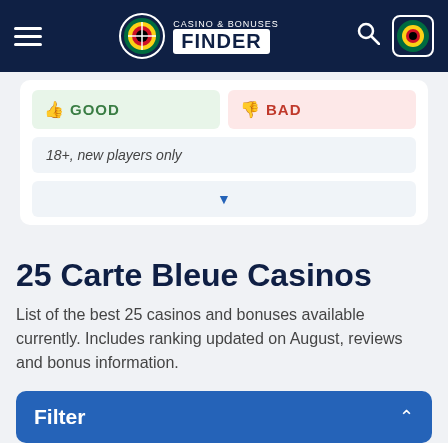CASINO & BONUSES FINDER
GOOD   BAD
18+, new players only
25 Carte Bleue Casinos
List of the best 25 casinos and bonuses available currently. Includes ranking updated on August, reviews and bonus information.
Filter
BONUS TYPES
No Deposit Bonus